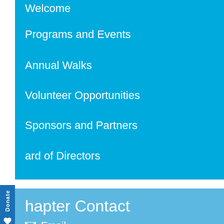Welcome
Programs and Events
Annual Walks
Volunteer Opportunities
Sponsors and Partners
ard of Directors
Donate
hapter Contact
Email
[Facebook icon] [Twitter icon]